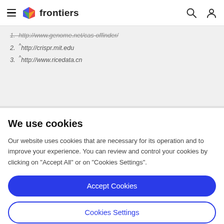frontiers
1. ^http://www.genome.net/cas-offinder/
2. ^http://crispr.mit.edu
3. ^http://www.ricedata.cn
We use cookies
Our website uses cookies that are necessary for its operation and to improve your experience. You can review and control your cookies by clicking on "Accept All" or on "Cookies Settings".
Accept Cookies
Cookies Settings